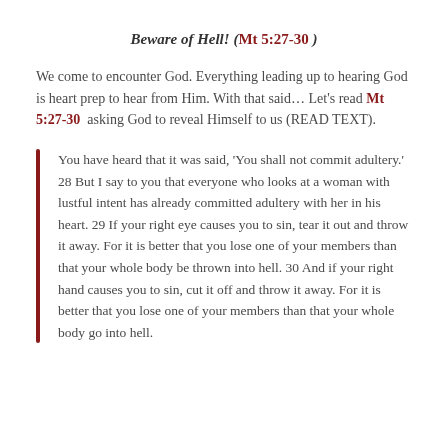Beware of Hell! (Mt 5:27-30)
We come to encounter God. Everything leading up to hearing God is heart prep to hear from Him. With that said… Let's read Mt 5:27-30 asking God to reveal Himself to us (READ TEXT).
You have heard that it was said, 'You shall not commit adultery.' 28 But I say to you that everyone who looks at a woman with lustful intent has already committed adultery with her in his heart. 29 If your right eye causes you to sin, tear it out and throw it away. For it is better that you lose one of your members than that your whole body be thrown into hell. 30 And if your right hand causes you to sin, cut it off and throw it away. For it is better that you lose one of your members than that your whole body go into hell.